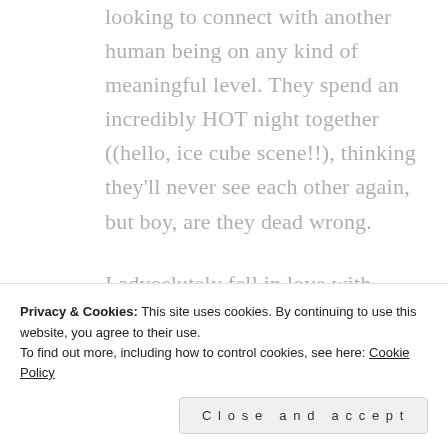looking to connect with another human being on any kind of meaningful level. They spend an incredibly HOT night together ((hello, ice cube scene!!), thinking they'll never see each other again, but boy, are they dead wrong.

I advoslutely fell in love with Lock, he is one bad-ass biker but he knows a good thing is right in front of him. The problem is, will he realize what a
Privacy & Cookies: This site uses cookies. By continuing to use this website, you agree to their use.
To find out more, including how to control cookies, see here: Cookie Policy